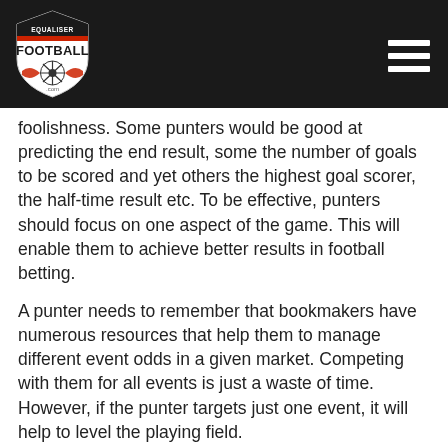Equaliser Football .com (logo) | hamburger menu
foolishness. Some punters would be good at predicting the end result, some the number of goals to be scored and yet others the highest goal scorer, the half-time result etc. To be effective, punters should focus on one aspect of the game. This will enable them to achieve better results in football betting.
A punter needs to remember that bookmakers have numerous resources that help them to manage different event odds in a given market. Competing with them for all events is just a waste of time. However, if the punter targets just one event, it will help to level the playing field.
Practically, the more granular a punter is with choosing a betting event, the better it will be for him. Additionally, the more crowded the betting market is, the lesser are the chances of a punter winning. In a crowded market, bets placed provide bookies with information that helps them to sharpen their odds further. It is better to choose a niche market and access information and analysis to make accurate predictions.